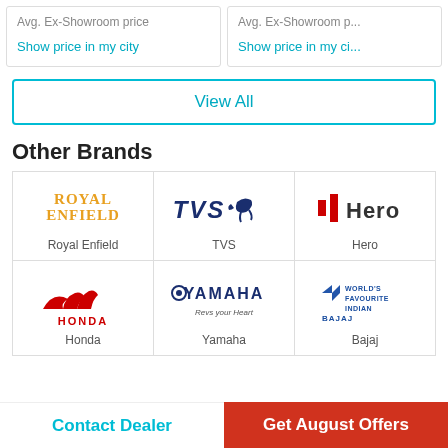Avg. Ex-Showroom price
Show price in my city
Avg. Ex-Showroom p...
Show price in my ci...
View All
Other Brands
[Figure (logo): Royal Enfield logo]
Royal Enfield
[Figure (logo): TVS logo]
TVS
[Figure (logo): Hero logo]
Hero
[Figure (logo): Honda logo]
Honda
[Figure (logo): Yamaha logo]
Yamaha
[Figure (logo): Bajaj logo]
Bajaj
Contact Dealer
Get August Offers